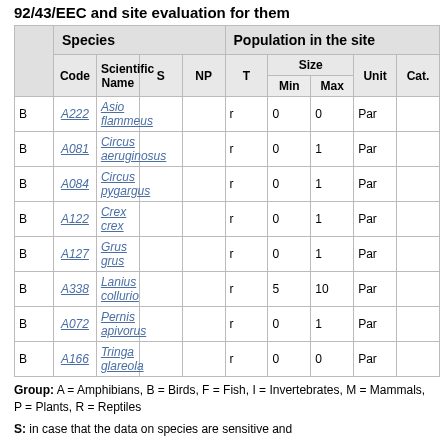92/43/EEC and site evaluation for them
| G | Code | Scientific Name | S | NP | T | Min | Max | Unit | Cat. |
| --- | --- | --- | --- | --- | --- | --- | --- | --- | --- |
| B | A222 | Asio flammeus |  |  | r | 0 | 0 | Par |  |
| B | A081 | Circus aeruginosus |  |  | r | 0 | 1 | Par |  |
| B | A084 | Circus pygargus |  |  | r | 0 | 1 | Par |  |
| B | A122 | Crex crex |  |  | r | 0 | 1 | Par |  |
| B | A127 | Grus grus |  |  | r | 0 | 1 | Par |  |
| B | A338 | Lanius collurio |  |  | r | 5 | 10 | Par |  |
| B | A072 | Pernis apivorus |  |  | r | 0 | 1 | Par |  |
| B | A166 | Tringa glareola |  |  | r | 0 | 0 | Par |  |
Group: A = Amphibians, B = Birds, F = Fish, I = Invertebrates, M = Mammals, P = Plants, R = Reptiles
S: in case that the data on species are sensitive and